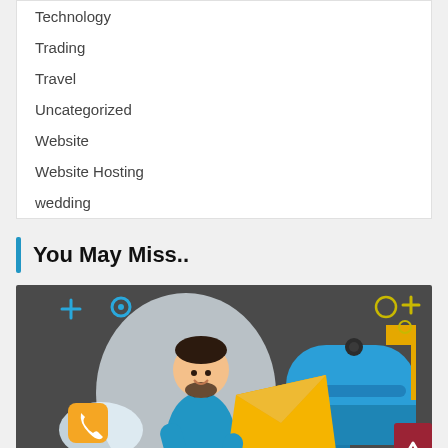Technology
Trading
Travel
Uncategorized
Website
Website Hosting
wedding
You May Miss..
[Figure (illustration): Flat-style illustration of a man in a blue shirt holding a large yellow envelope, standing next to a blue mailbox. Decorative elements include plus signs, circles, phone icon, and a leaf motif on a dark gray background.]